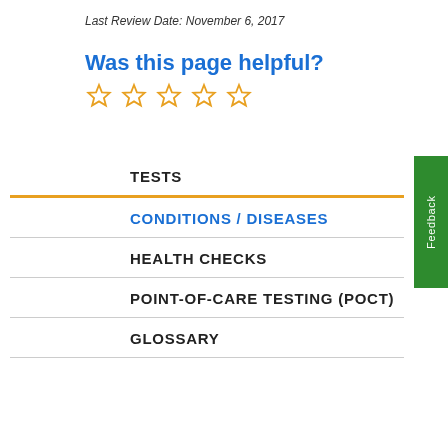Last Review Date: November 6, 2017
Was this page helpful?
[Figure (illustration): Five empty orange star rating icons]
TESTS
CONDITIONS / DISEASES
HEALTH CHECKS
POINT-OF-CARE TESTING (POCT)
GLOSSARY